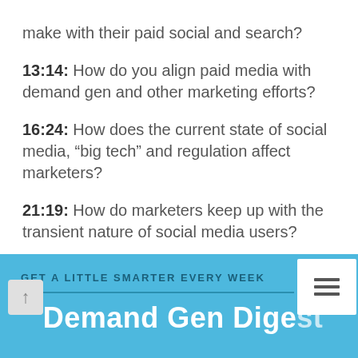make with their paid social and search?
13:14: How do you align paid media with demand gen and other marketing efforts?
16:24: How does the current state of social media, “big tech” and regulation affect marketers?
21:19: How do marketers keep up with the transient nature of social media users?
27:00: What is the one tool Naira cannot work without?
GET A LITTLE SMARTER EVERY WEEK
Demand Gen Digest